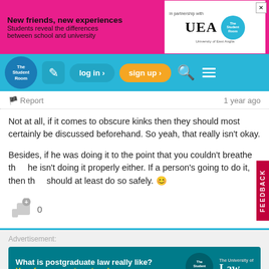[Figure (screenshot): Top banner advertisement: pink background with 'New friends, new experiences' headline, UEA logo and The Student Room partnership bubble, close button]
[Figure (screenshot): The Student Room navigation bar with logo, edit icon, log in button, sign up button, search and menu icons]
Report   1 year ago
Not at all, if it comes to obscure kinks then they should most certainly be discussed beforehand. So yeah, that really isn't okay.

Besides, if he was doing it to the point that you couldn't breathe then he isn't doing it properly either. If a person's going to do it, then they should at least do so safely. 😊
[Figure (screenshot): Like/upvote button with +0 count]
[Figure (screenshot): FEEDBACK vertical tab on the right side]
[Figure (screenshot): Bottom advertisement: 'What is postgraduate law really like? Hear from current postgrads' with The Student Room and University of Law logos]